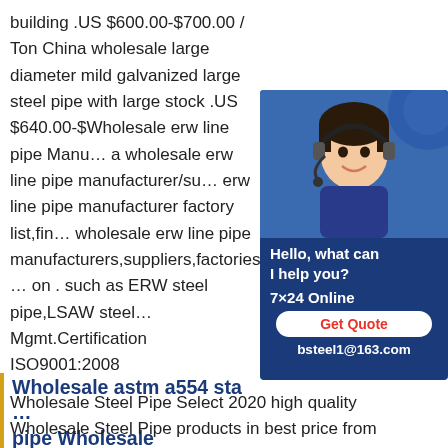building .US $600.00-$700.00 / Ton China wholesale large diameter mild galvanized large steel pipe with large stock .US $640.00-$Wholesale erw line pipe Manufacturers,a wholesale erw line pipe manufacturer/su… erw line pipe manufacturer factory list,fin… wholesale erw line pipe manufacturers,suppliers,factories,exporte… on . such as ERW steel pipe,LSAW steel… Mgmt.Certification ISO9001:2008
[Figure (photo): Customer service representative advertisement with headset, text 'Hello, what can I help you?', '7x24 Online', 'Get Quote' button, and 'bsteel1@163.com' contact email on dark blue background.]
Wholesale astm a554 sta… pipe Wholesale
Wholesale Steel Pipe Select 2020 high quality Wholesale Steel Pipe products in best price from certified Chinese manufacturers,suppliers,wholesalers and factory on Made in China ASTM A554 Stainless Steel Welding Tube Pipe at Wholesale Price Recommended product from this supplier.FOB…